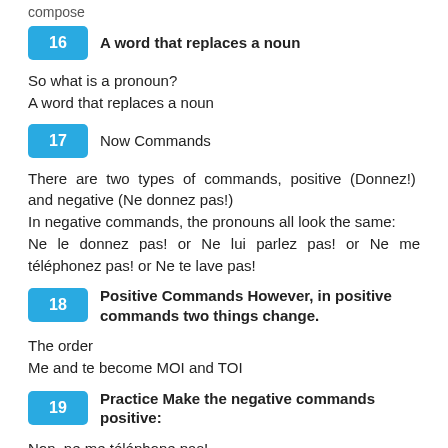compose
16   A word that replaces a noun
So what is a pronoun?
A word that replaces a noun
17   Now Commands
There are two types of commands, positive (Donnez!) and negative (Ne donnez pas!)
In negative commands, the pronouns all look the same:
Ne le donnez pas! or Ne lui parlez pas! or Ne me téléphonez pas! or Ne te lave pas!
18   Positive Commands However, in positive commands two things change.
The order
Me and te become MOI and TOI
19   Practice Make the negative commands positive:
Non, ne me téléphone pas!
Non, ne m'attends pas!